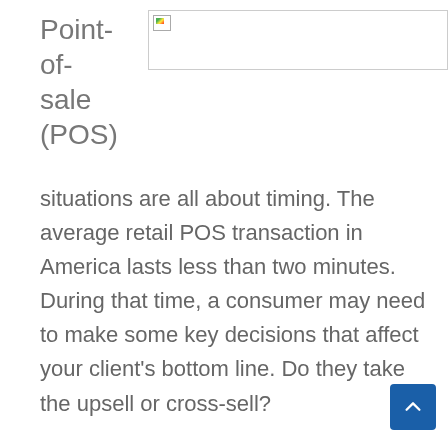Point-of-sale (POS)
[Figure (other): Broken/unloaded image placeholder shown as a rectangle with a small broken image icon in the top-left corner]
situations are all about timing. The average retail POS transaction in America lasts less than two minutes. During that time, a consumer may need to make some key decisions that affect your client's bottom line. Do they take the upsell or cross-sell?